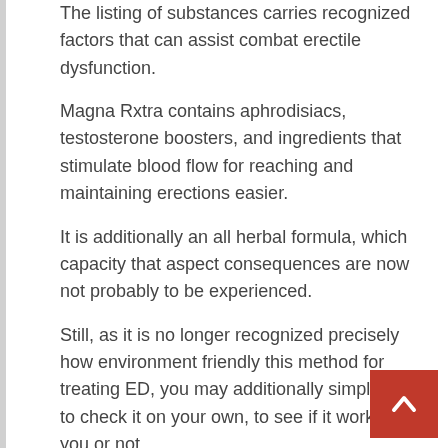The listing of substances carries recognized factors that can assist combat erectile dysfunction.
Magna Rxtra contains aphrodisiacs, testosterone boosters, and ingredients that stimulate blood flow for reaching and maintaining erections easier.
It is additionally an all herbal formula, which capacity that aspect consequences are now not probably to be experienced.
Still, as it is no longer recognized precisely how environment friendly this method for treating ED, you may additionally simply want to check it on your own, to see if it works for you or not.
Magna Rxtra comes with a 60 day money back guarantee, so, in case you are dissatisfied with it, you can always send it back and get a refund.